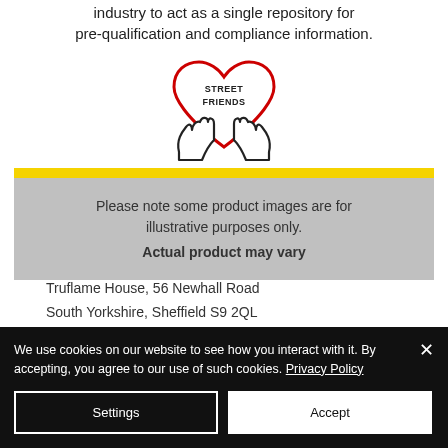industry to act as a single repository for pre-qualification and compliance information.
[Figure (logo): Street Friends logo: two hands cradling a red heart shape with 'STREET FRIENDS' text inside]
Please note some product images are for illustrative purposes only.
Actual product may vary
Truflame House, 56 Newhall Road
South Yorkshire, Sheffield S9 2QL
We use cookies on our website to see how you interact with it. By accepting, you agree to our use of such cookies. Privacy Policy